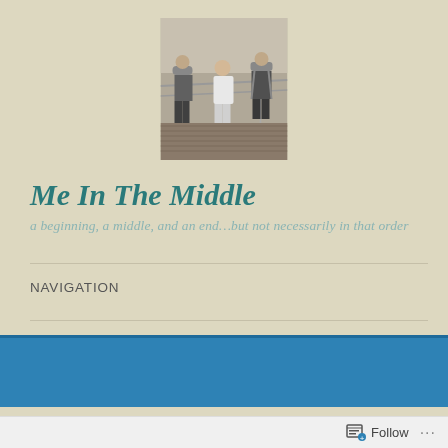[Figure (photo): Black and white photograph of three children standing on what appears to be a ship deck with railing behind them. Two older children stand on the sides, a smaller child in white in the middle.]
Me In The Middle
a beginning, a middle, and an end...but not necessarily in that order
NAVIGATION
Tag Archives: COVID-19 Deaths
Follow ...